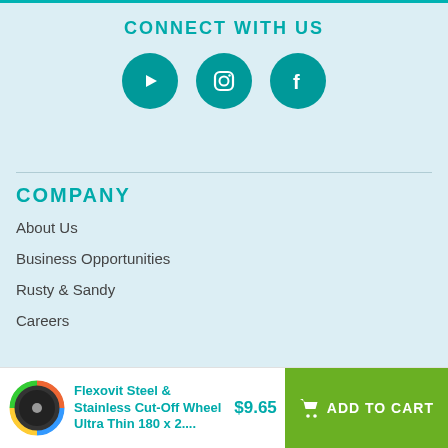CONNECT WITH US
[Figure (illustration): Three teal circular social media icons: YouTube (play button), Instagram (camera), Facebook (f logo)]
COMPANY
About Us
Business Opportunities
Rusty & Sandy
Careers
Flexovit Steel & Stainless Cut-Off Wheel Ultra Thin 180 x 2.... $9.65 ADD TO CART